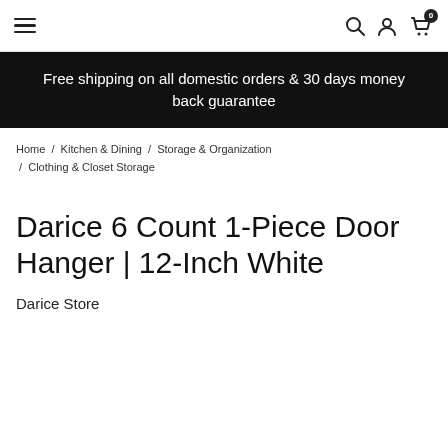Navigation bar with hamburger menu, search, account, and cart icons
Free shipping on all domestic orders & 30 days money back guarantee
Home / Kitchen & Dining / Storage & Organization / Clothing & Closet Storage
Darice 6 Count 1-Piece Door Hanger | 12-Inch White
Darice Store